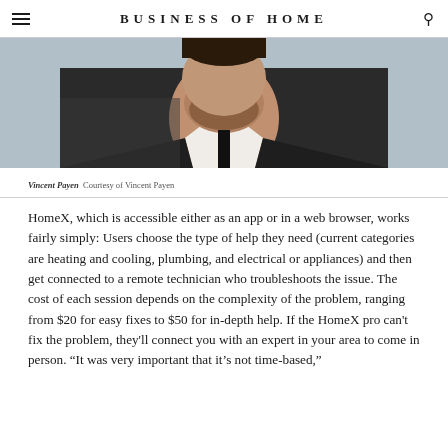BUSINESS OF HOME
[Figure (photo): Portrait photo of Vincent Payen, a man in a dark suit with beard, photographed from the chest up]
Vincent Payen   Courtesy of Vincent Payen
HomeX, which is accessible either as an app or in a web browser, works fairly simply: Users choose the type of help they need (current categories are heating and cooling, plumbing, and electrical or appliances) and then get connected to a remote technician who troubleshoots the issue. The cost of each session depends on the complexity of the problem, ranging from $20 for easy fixes to $50 for in-depth help. If the HomeX pro can’t fix the problem, they’ll connect you with an expert in your area to come in person. “It was very important that it’s not time-based,”